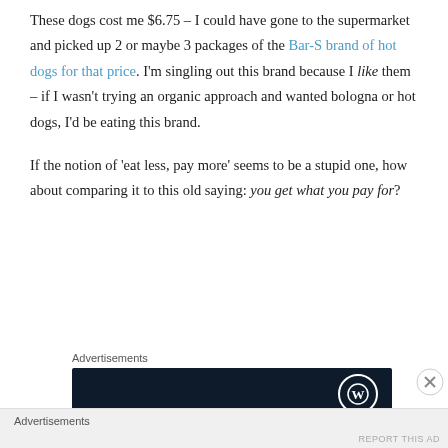These dogs cost me $6.75 – I could have gone to the supermarket and picked up 2 or maybe 3 packages of the Bar-S brand of hot dogs for that price. I'm singling out this brand because I like them – if I wasn't trying an organic approach and wanted bologna or hot dogs, I'd be eating this brand.
If the notion of 'eat less, pay more' seems to be a stupid one, how about comparing it to this old saying: you get what you pay for?
Advertisements
[Figure (other): Dark navy advertisement banner with WordPress logo circle on the right]
Advertisements